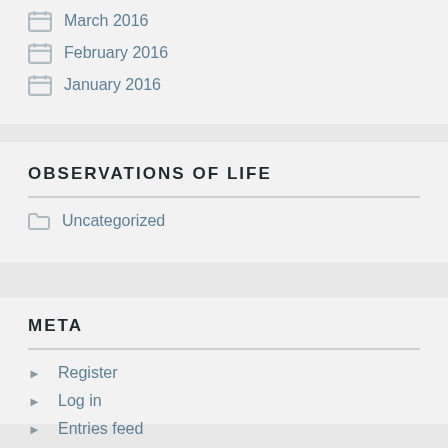March 2016
February 2016
January 2016
OBSERVATIONS OF LIFE
Uncategorized
META
Register
Log in
Entries feed